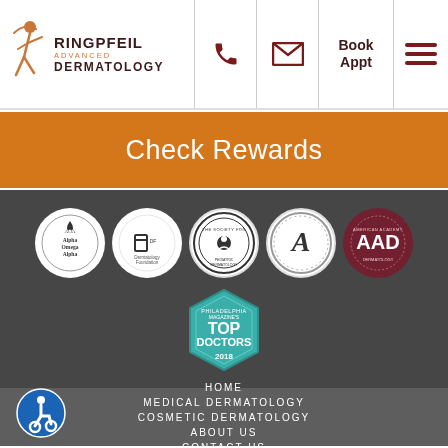Ringpfeil Advanced Dermatology — navigation header with phone, email, Book Appt, and menu icons
Check Rewards
[Figure (logo): Row of five circular medical association badges: Alpha Omega Alpha, Dermatology Foundation, The Society for Pediatric Dermatology, A (American Academy), AAD (American Academy of Dermatology); below them a teal hexagonal Philadelphia Magazine Top Doctors 2018 badge]
HOME
MEDICAL DERMATOLOGY
COSMETIC DERMATOLOGY
ABOUT US
CONTACT US